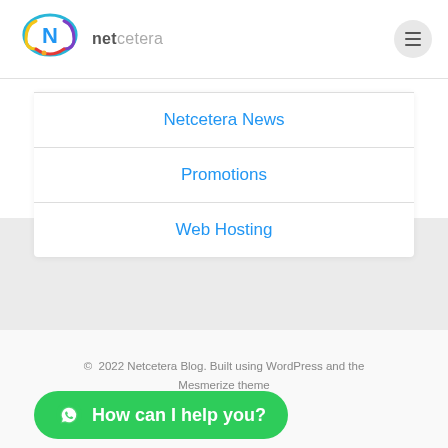[Figure (logo): Netcetera logo with colorful N in cloud shape, followed by 'netcetera' text in grey]
Netcetera News
Promotions
Web Hosting
© 2022 Netcetera Blog. Built using WordPress and the Mesmerize theme
How can I help you?